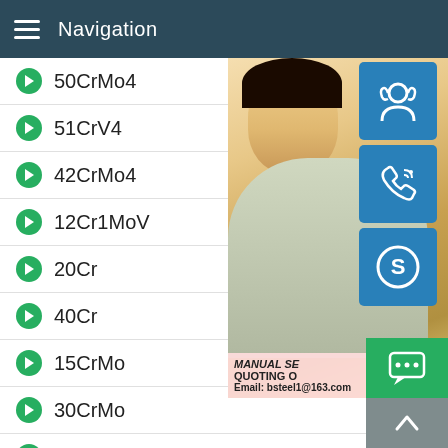Navigation
50CrMo4
51CrV4
42CrMo4
12Cr1MoV
20Cr
40Cr
15CrMo
30CrMo
35CrMo
42CrMo
[Figure (photo): Customer service representative woman with headset, with contact info overlay showing MANUAL SE... QUOTING O... Email: bsteel1@163.com, and blue icon buttons for support, phone, and Skype]
MANUAL SE... QUOTING O... Email: bsteel1@163.com